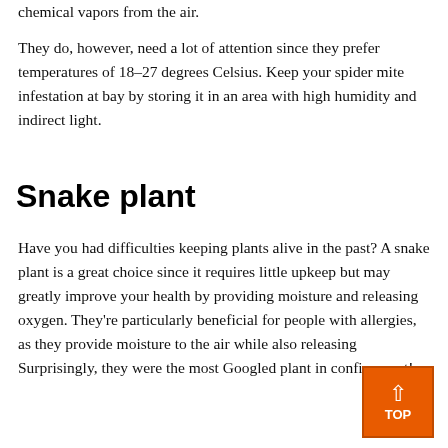chemical vapors from the air.
They do, however, need a lot of attention since they prefer temperatures of 18–27 degrees Celsius. Keep your spider mite infestation at bay by storing it in an area with high humidity and indirect light.
Snake plant
Have you had difficulties keeping plants alive in the past? A snake plant is a great choice since it requires little upkeep but may greatly improve your health by providing moisture and releasing oxygen. They're particularly beneficial for people with allergies, as they provide moisture to the air while also releasing [oxygen]. Surprisingly, they were the most Googled plant in confinement!